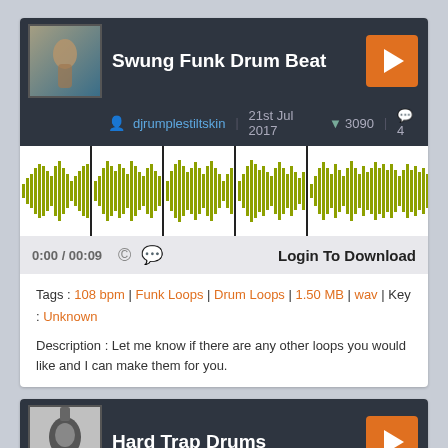Swung Funk Drum Beat
djrumplestiltskin | 21st Jul 2017 ▼ 3090 | 💬 4
[Figure (other): Audio waveform visualization in olive/yellow-green color showing drum beat pattern with vertical black markers]
0:00 / 00:09 © 💬 Login To Download
Tags : 108 bpm | Funk Loops | Drum Loops | 1.50 MB | wav | Key : Unknown
Description : Let me know if there are any other loops you would like and I can make them for you.
Hard Trap Drums
nakkihomo | 14th Feb 2020 ▼ 2884 | 💬 5
[Figure (other): Audio waveform visualization in olive/yellow-green color showing trap drum pattern]